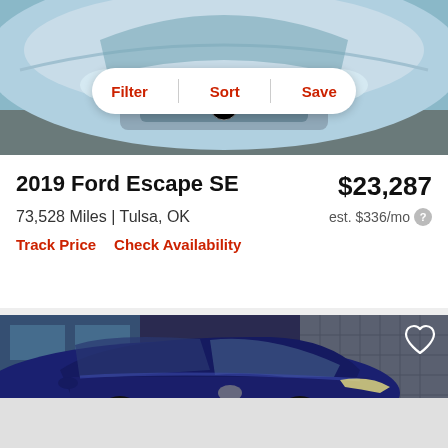[Figure (photo): Top portion of a light blue/silver car viewed from the front, partially cropped at top of page]
[Figure (infographic): Filter bar overlay with three buttons: Filter, Sort, Save on white pill-shaped background]
2019 Ford Escape SE
$23,287
73,528 Miles | Tulsa, OK
est. $336/mo
Track Price   Check Availability
[Figure (photo): Dark blue SUV (likely Nissan) photographed at a dealership, front 3/4 view, with heart/favorite icon in top right corner. Bottom portion partially obscured by gray overlay.]